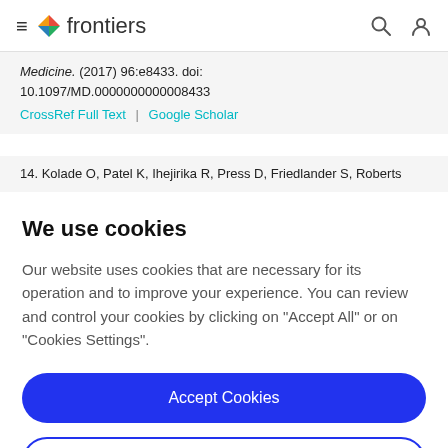frontiers (navigation bar with hamburger menu, logo, search and user icons)
Medicine. (2017) 96:e8433. doi: 10.1097/MD.0000000000008433
CrossRef Full Text | Google Scholar
14. Kolade O, Patel K, Ihejirika R, Press D, Friedlander S, Roberts
We use cookies
Our website uses cookies that are necessary for its operation and to improve your experience. You can review and control your cookies by clicking on "Accept All" or on "Cookies Settings".
Accept Cookies
Cookies Settings